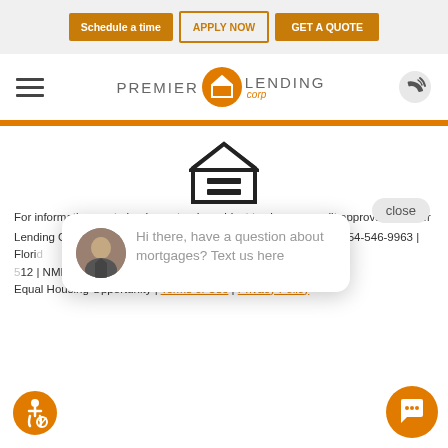Schedule a time | APPLY NOW | GET A QUOTE
[Figure (logo): Premier PLC Lending Corp logo with orange circle containing PLC, hamburger menu icon on left, phone icon on right]
[Figure (illustration): Equal housing opportunity house icon]
Hi there, have a question about mortgages? Text us here
close
For information p... to lend or extend... subject to chang... credit approval. Premier Lending Corp, 12399 SW 53rd St #104, Cooper City, FL 33330 | 954-546-9963 | Florid... 512 | NMLS 1156346 www.nmlsconsumeracces... Equal Housing Opportunity | Terms of Use | Privacy Policy